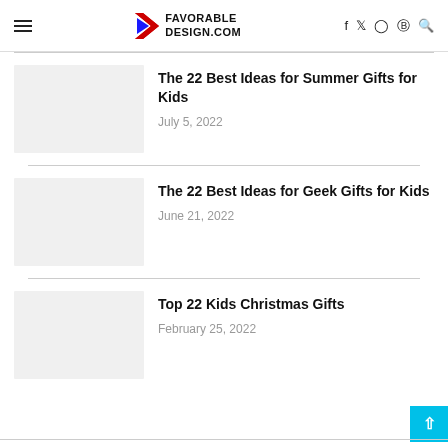FAVORABLE DESIGN.COM
[Figure (illustration): Blank thumbnail placeholder image for Summer Gifts article]
The 22 Best Ideas for Summer Gifts for Kids
July 5, 2022
[Figure (illustration): Blank thumbnail placeholder image for Geek Gifts article]
The 22 Best Ideas for Geek Gifts for Kids
June 21, 2022
[Figure (illustration): Blank thumbnail placeholder image for Christmas Gifts article]
Top 22 Kids Christmas Gifts
February 25, 2022